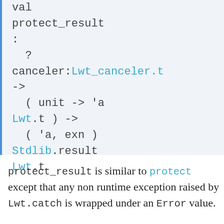val protect_result :
  ?
  canceler:Lwt_canceler.t
  ->
    ( unit -> 'a Lwt.t ) ->
    ( 'a, exn )
  Stdlib.result
  Lwt.t
protect_result is similar to protect except that any non runtime exception raised by Lwt.catch is wrapped under an Error value.